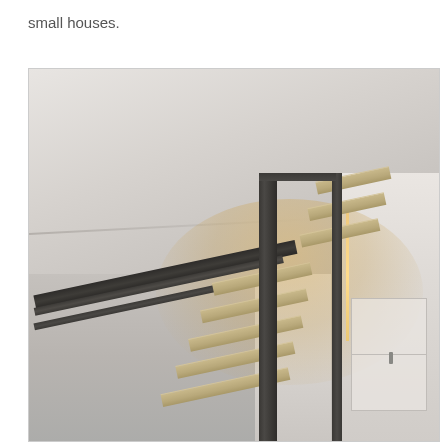small houses.
[Figure (photo): Interior architectural photo showing a modern floating staircase with dark metal railings and wooden treads, photographed from below looking up, with white walls and a warm light fixture visible on the right side wall.]